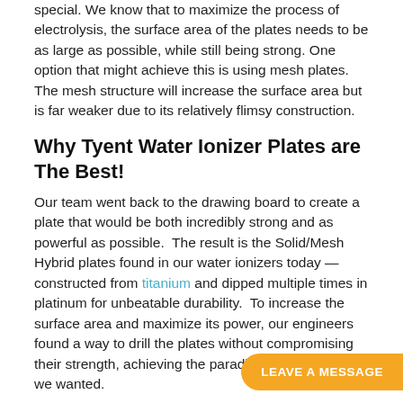special. We know that to maximize the process of electrolysis, the surface area of the plates needs to be as large as possible, while still being strong. One option that might achieve this is using mesh plates. The mesh structure will increase the surface area but is far weaker due to its relatively flimsy construction.
Why Tyent Water Ionizer Plates are The Best!
Our team went back to the drawing board to create a plate that would be both incredibly strong and as powerful as possible. The result is the Solid/Mesh Hybrid plates found in our water ionizers today — constructed from titanium and dipped multiple times in platinum for unbeatable durability. To increase the surface area and maximize its power, our engineers found a way to drill the plates without compromising their strength, achieving the paradigm of performance we wanted.
No Cutting Corners!
The reality is that cheaper plates are
LEAVE A MESSAGE